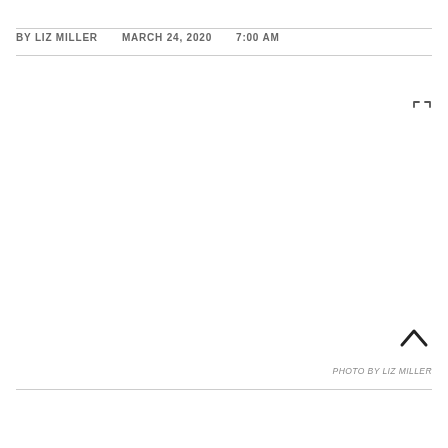BY LIZ MILLER   MARCH 24, 2020   7:00 AM
[Figure (photo): Large image placeholder area, mostly white/blank with expand icon in upper right corner and chevron/back-to-top arrow in lower right]
PHOTO BY LIZ MILLER